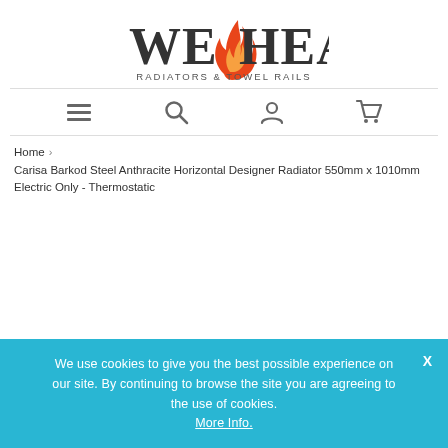[Figure (logo): WeHeat Radiators & Towel Rails logo with flame icon]
[Figure (infographic): Navigation bar with menu (hamburger), search, account, and cart icons]
Home > Carisa Barkod Steel Anthracite Horizontal Designer Radiator 550mm x 1010mm Electric Only - Thermostatic
We use cookies to give you the best possible experience on our site. By continuing to browse the site you are agreeing to the use of cookies. More Info.